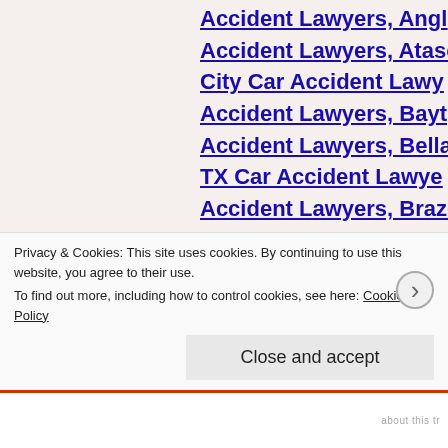Accident Lawyers, Angle...
Accident Lawyers, Atasc...
City Car Accident Lawy...
Accident Lawyers, Bayto...
Accident Lawyers, Bellai...
TX Car Accident Lawye...
Accident Lawyers, Brazо...
Accident Lawyers, Brenh...
Accident Lawyers, Brook...
Accident Lawyers, Bryan...
Creek Car Accident Law...
Privacy & Cookies: This site uses cookies. By continuing to use this website, you agree to their use.
To find out more, including how to control cookies, see here: Cookie Policy
Close and accept